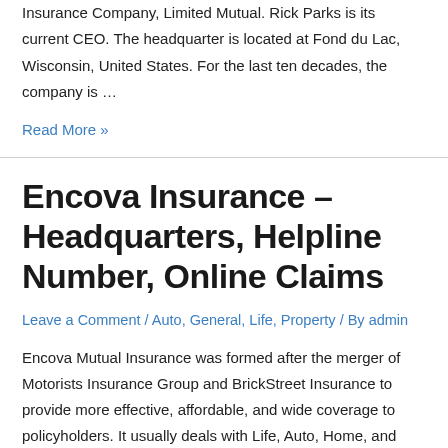Insurance Company, Limited Mutual. Rick Parks is its current CEO. The headquarter is located at Fond du Lac, Wisconsin, United States. For the last ten decades, the company is …
Read More »
Encova Insurance – Headquarters, Helpline Number, Online Claims
Leave a Comment / Auto, General, Life, Property / By admin
Encova Mutual Insurance was formed after the merger of Motorists Insurance Group and BrickStreet Insurance to provide more effective, affordable, and wide coverage to policyholders. It usually deals with Life, Auto, Home, and workers' compensation coverage. Encova insurance is based in Columbus, Ohio, and ranked in the